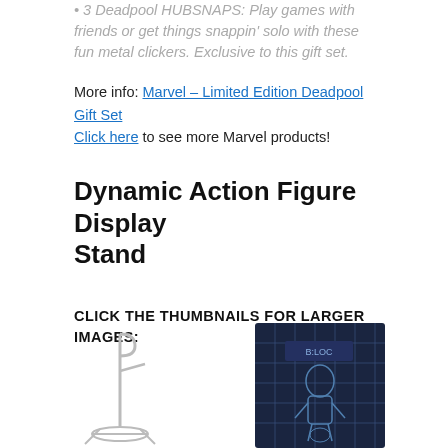3 Deadpool HUBSNAPS: Play games with friends or get things snappin' solo with these fun metal clickers. Exclusive to this gift set.
More info: Marvel – Limited Edition Deadpool Gift Set
Click here to see more Marvel products!
Dynamic Action Figure Display Stand
CLICK THE THUMBNAILS FOR LARGER IMAGES:
[Figure (photo): Thumbnail of a Dynamic Action Figure Display Stand, a white/gray wire stand shown against white background]
[Figure (photo): Thumbnail of a packaged action figure display stand in dark packaging with grid lines]